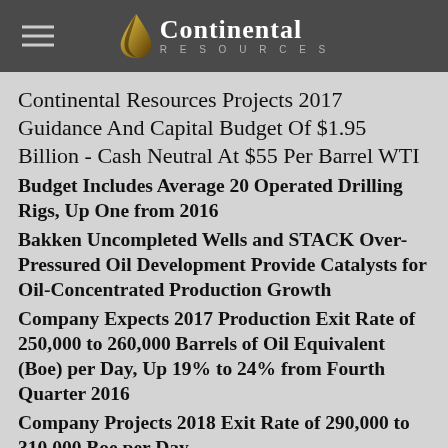Continental Resources
Continental Resources Projects 2017 Guidance And Capital Budget Of $1.95 Billion - Cash Neutral At $55 Per Barrel WTI
Budget Includes Average 20 Operated Drilling Rigs, Up One from 2016
Bakken Uncompleted Wells and STACK Over-Pressured Oil Development Provide Catalysts for Oil-Concentrated Production Growth
Company Expects 2017 Production Exit Rate of 250,000 to 260,000 Barrels of Oil Equivalent (Boe) per Day, Up 19% to 24% from Fourth Quarter 2016
Company Projects 2018 Exit Rate of 290,000 to 310,000 Boe per Day
Fourth Quarter 2016 Earnings Call Scheduled for Thursday, February 23, 2017